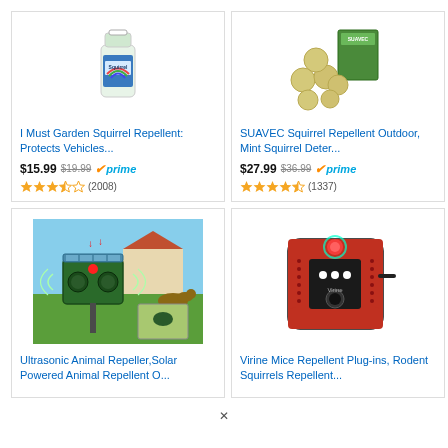[Figure (screenshot): Amazon product listing grid showing 4 squirrel/animal repellent products with images, titles, prices, and ratings]
I Must Garden Squirrel Repellent: Protects Vehicles... $15.99 $19.99 prime (2008) 3.5 stars
SUAVEC Squirrel Repellent Outdoor, Mint Squirrel Deter... $27.99 $36.99 prime (1337) 4 stars
Ultrasonic Animal Repeller,Solar Powered Animal Repellent O...
Virine Mice Repellent Plug-ins, Rodent Squirrels Repellent...